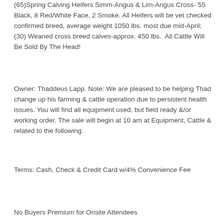(65)Spring Calving Heifers Simm-Angus & Lim-Angus Cross- 55 Black, 8 Red/White Face, 2 Smoke. All Heifers will be vet checked confirmed breed, average weight 1050 lbs. most due mid-April; (30) Weaned cross breed calves-approx. 450 lbs.  All Cattle Will Be Sold By The Head!
Owner: Thaddeus Lapp. Note: We are pleased to be helping Thad change up his farming & cattle operation due to persistent health issues. You will find all equipment used, but field ready &/or working order. The sale will begin at 10 am at Equipment, Cattle & related to the following.
Terms: Cash, Check & Credit Card w/4% Convenience Fee
No Buyers Premium for Onsite Attendees